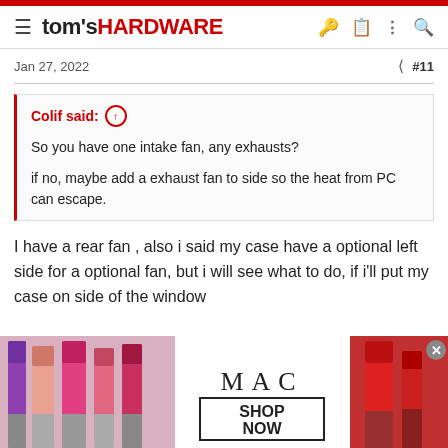tom's HARDWARE
Jan 27, 2022   #11
Colif said: ↑

So you have one intake fan, any exhausts?

if no, maybe add a exhaust fan to side so the heat from PC can escape.
I have a rear fan , also i said my case have a optional left side for a optional fan, but i will see what to do, if i'll put my case on side of the window
[Figure (photo): MAC cosmetics advertisement banner showing lipsticks with MAC logo and SHOP NOW button]